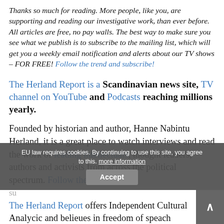Thanks so much for reading. More people, like you, are supporting and reading our investigative work, than ever before. All articles are free, no pay walls. The best way to make sure you see what we publish is to subscribe to the mailing list, which will get you a weekly email notification and alerts about our TV shows – FOR FREE! Follow the trend and subscribe!
The Herland Report is a Scandinavian news site, TV channel on YouTube and Podcasts reaching millions yearly.
Founded by historian and author, Hanne Nabintu Herland, it is a great place to watch interviews and read the work of leading intellectuals, thought leaders, authors and activists from across the political spectrum. Follow the trend and sub...
The Herland Report offers Independent Cultural Analysis and believes in freedom of speech...
EU law requires cookies. By continuing to use this site, you agree to this. more information